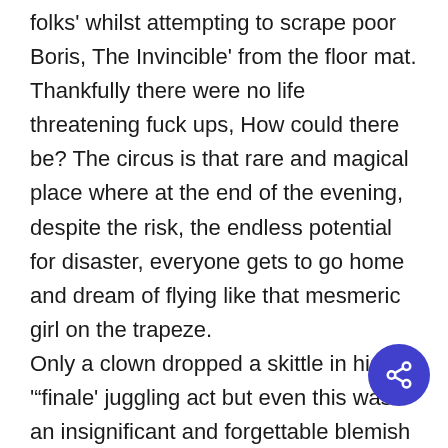folks' whilst attempting to scrape poor Boris, The Invincible' from the floor mat. Thankfully there were no life threatening fuck ups, How could there be? The circus is that rare and magical place where at the end of the evening, despite the risk, the endless potential for disaster, everyone gets to go home and dream of flying like that mesmeric girl on the trapeze. Only a clown dropped a skittle in his '"finale' juggling act but even this was an insignificant and forgettable blemish on the big tops utopian façade. I like to think it was a considered error on his
[Figure (other): Blue circular share button with share/network icon in white]